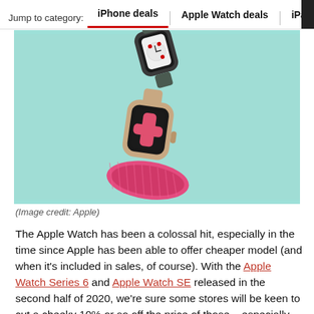Jump to category: iPhone deals | Apple Watch deals | iPad deals
[Figure (photo): Two Apple Watch models on a teal/mint background — one with a dark sport band (upper, showing a clock face), one with a bright pink/coral loop band (lower, showing a pink X/cross watch face).]
(Image credit: Apple)
The Apple Watch has been a colossal hit, especially in the time since Apple has been able to offer cheaper model (and when it's included in sales, of course). With the Apple Watch Series 6 and Apple Watch SE released in the second half of 2020, we're sure some stores will be keen to cut a cheeky 10% or so off the price of those – especially some of the more premium options – to get some attention.